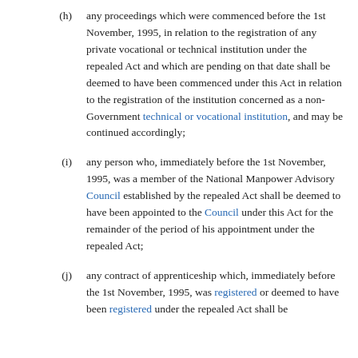(h) any proceedings which were commenced before the 1st November, 1995, in relation to the registration of any private vocational or technical institution under the repealed Act and which are pending on that date shall be deemed to have been commenced under this Act in relation to the registration of the institution concerned as a non-Government technical or vocational institution, and may be continued accordingly;
(i) any person who, immediately before the 1st November, 1995, was a member of the National Manpower Advisory Council established by the repealed Act shall be deemed to have been appointed to the Council under this Act for the remainder of the period of his appointment under the repealed Act;
(j) any contract of apprenticeship which, immediately before the 1st November, 1995, was registered or deemed to have been registered under the repealed Act shall be